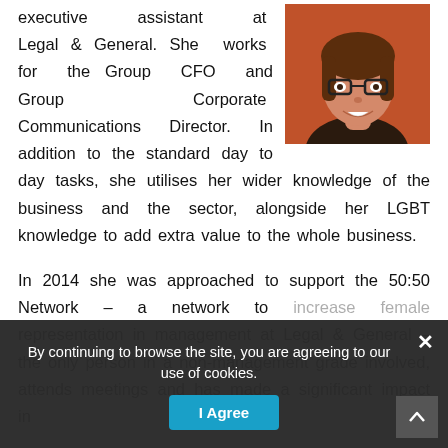[Figure (photo): Head and shoulders photo of a woman with glasses, smiling, against an orange/red background.]
executive assistant at Legal & General. She works for the Group CFO and Group Corporate Communications Director. In addition to the standard day to day tasks, she utilises her wider knowledge of the business and the sector, alongside her LGBT knowledge to add extra value to the whole business.
In 2014 she was approached to support the 50:50 Network – a network to increase female representation in management at Legal & General – the only person in a non-management grade involved, attends meetings and has made a significant impact in
By continuing to browse the site, you are agreeing to our use of cookies.